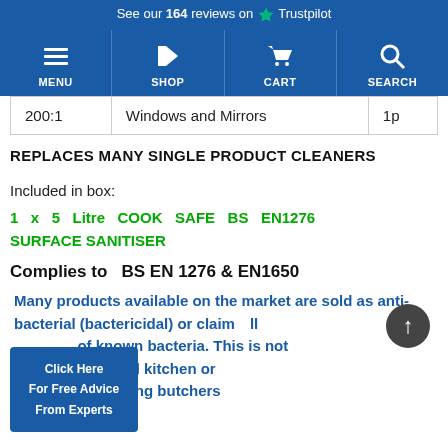See our 164 reviews on ★ Trustpilot
[Figure (screenshot): Navigation bar with MENU, SHOP, CART, SEARCH icons on blue background]
| 200:1 | Windows and Mirrors | 1p |
REPLACES MANY SINGLE PRODUCT CLEANERS
Included in box:
1 x 5 Litre COOK SAFE BS EN1276 SURFACE SANITISER
Complies to  BS EN 1276 & EN1650
Many products available on the market are sold as anti-bacterial (bactericidal) or claim... known bacteria. This is not ... ny professional kitchen or ...ng area including butchers
Click Here For Free Advice From Experts